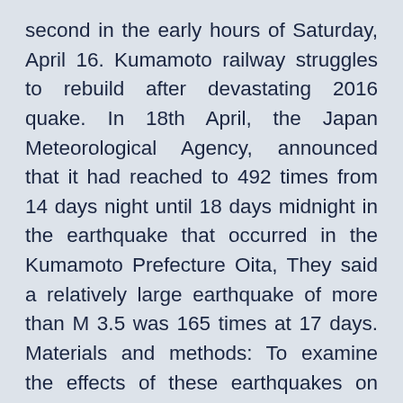second in the early hours of Saturday, April 16. Kumamoto railway struggles to rebuild after devastating 2016 quake. In 18th April, the Japan Meteorological Agency, announced that it had reached to 492 times from 14 days night until 18 days midnight in the earthquake that occurred in the Kumamoto Prefecture Oita, They said a relatively large earthquake of more than M 3.5 was 165 times at 17 days. Materials and methods: To examine the effects of these earthquakes on glycemic control and stress factors, glycated hemoglobin, glycated albumin, other biochemical parameters, a